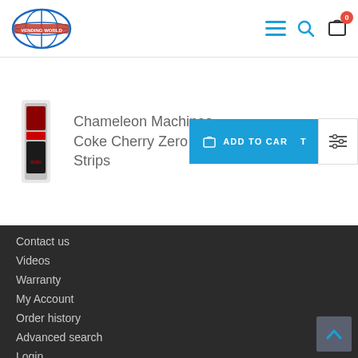[Figure (logo): Vending World globe logo with red text]
Chameleon Machines Coke Cherry Zero 12 oz Strips
[Figure (photo): Product image of Coke Cherry Zero 12 oz vending strip]
ADD TO CART
Contact us
Videos
Warranty
My Account
Order history
Advanced search
Login
INFORMATION
Discount Coupons
Financing For Vending Machines